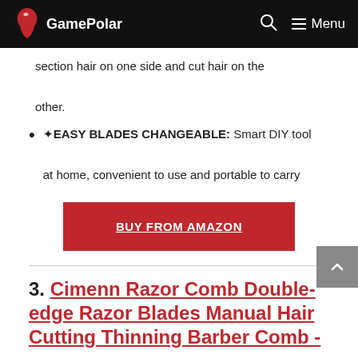GamePolar — Menu
section hair on one side and cut hair on the other.
⬥EASY BLADES CHANGEABLE: Smart DIY tool at home, convenient to use and portable to carry
BUY FROM AMAZON
3. Cimenn Razor Comb Double-edge Razor Blades Manual Hair Cutting Thinning Barber Comb -